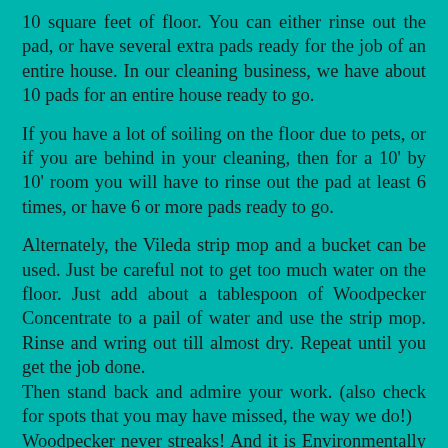10 square feet of floor. You can either rinse out the pad, or have several extra pads ready for the job of an entire house. In our cleaning business, we have about 10 pads for an entire house ready to go.
If you have a lot of soiling on the floor due to pets, or if you are behind in your cleaning, then for a 10' by 10' room you will have to rinse out the pad at least 6 times, or have 6 or more pads ready to go.
Alternately, the Vileda strip mop and a bucket can be used. Just be careful not to get too much water on the floor. Just add about a tablespoon of Woodpecker Concentrate to a pail of water and use the strip mop. Rinse and wring out till almost dry. Repeat until you get the job done.
Then stand back and admire your work. (also check for spots that you may have missed, the way we do!)
Woodpecker never streaks! And it is Environmentally Safe and Non Toxic!